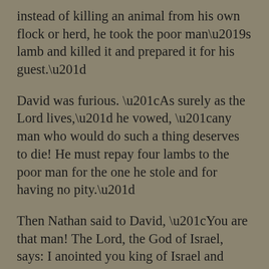instead of killing an animal from his own flock or herd, he took the poor man’s lamb and killed it and prepared it for his guest.”
David was furious. “As surely as the Lord lives,” he vowed, “any man who would do such a thing deserves to die! He must repay four lambs to the poor man for the one he stole and for having no pity.”
Then Nathan said to David, “You are that man! The Lord, the God of Israel, says: I anointed you king of Israel and saved you from the power of Saul. I gave you your master’s house and his wives and the kingdoms of Israel and Judah. And if that had not been enough, I would have given you much, much more. Why, then, have you despised the word of the Lord and done this